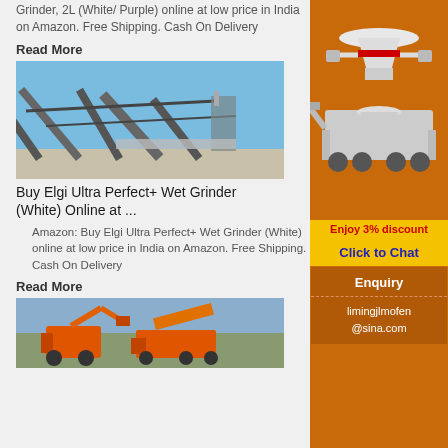Grinder, 2L (White/ Purple) online at low price in India on Amazon. Free Shipping. Cash On Delivery
Read More
[Figure (photo): Industrial conveyor and crushing plant with steel structures against a blue sky]
Buy Elgi Ultra Perfect+ Wet Grinder (White) Online at ...
Amazon: Buy Elgi Ultra Perfect+ Wet Grinder (White) online at low price in India on Amazon. Free Shipping. Cash On Delivery
Read More
[Figure (photo): Orange mobile crushing and screening machinery at a mining site]
[Figure (infographic): Orange sidebar advertisement showing mining/crushing machinery images, Enjoy 3% discount yellow bar, Click to Chat button, Enquiry section, and limingjlmofen@sina.com contact email]